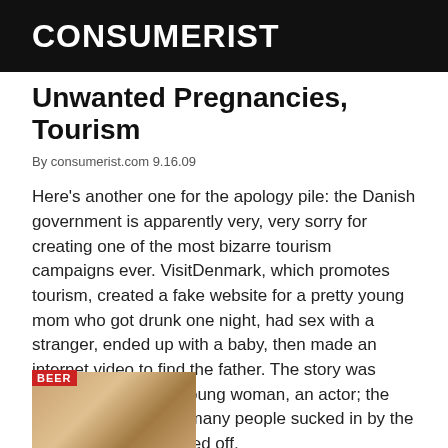CONSUMERIST
Unwanted Pregnancies, Tourism
By consumerist.com 9.16.09
Here's another one for the apology pile: the Danish government is apparently very, very sorry for creating one of the most bizarre tourism campaigns ever. VisitDenmark, which promotes tourism, created a fake website for a pretty young mom who got drunk one night, had sex with a stranger, ended up with a baby, then made an internet video to find the father. The story was purely a hoax—the young woman, an actor; the baby, not hers—and many people sucked in by the sad tale are now pissed off.
[Figure (photo): Partial image of a beer-related photo at the bottom of the page, with a red BEER label overlay]